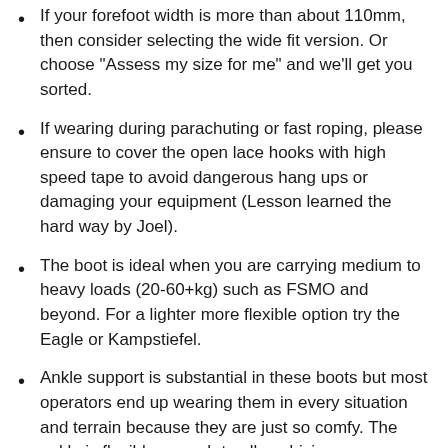If your forefoot width is more than about 110mm, then consider selecting the wide fit version. Or choose "Assess my size for me" and we'll get you sorted.
If wearing during parachuting or fast roping, please ensure to cover the open lace hooks with high speed tape to avoid dangerous hang ups or damaging your equipment (Lesson learned the hard way by Joel).
The boot is ideal when you are carrying medium to heavy loads (20-60+kg) such as FSMO and beyond. For a lighter more flexible option try the Eagle or Kampstiefel.
Ankle support is substantial in these boots but most operators end up wearing them in every situation and terrain because they are just so comfy. The ankle is flexible enough to allow driving.
Apply Meindl Sport wax liberally to the heel flex zone, the exposed seams and toe flex zones to prevent